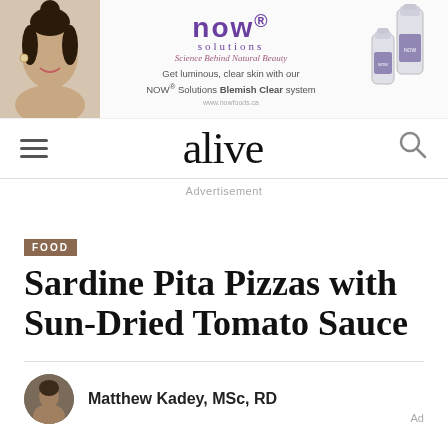[Figure (photo): NOW Solutions advertisement banner featuring a woman with glowing skin, NOW Solutions brand logo in purple, tagline 'Science Behind Natural Beauty', text 'Get luminous, clear skin with our NOW Solutions Blemish Clear system', and product bottles on the right.]
alive
Advertisement
FOOD
Sardine Pita Pizzas with Sun-Dried Tomato Sauce
Matthew Kadey, MSc, RD